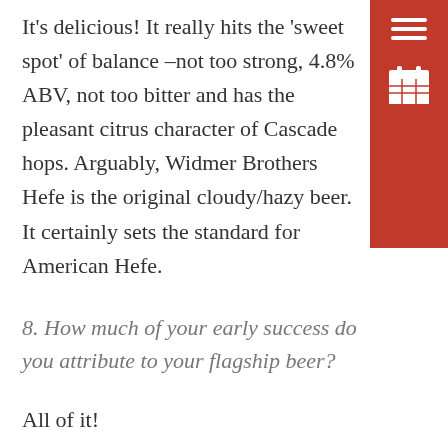It's delicious! It really hits the 'sweet spot' of balance –not too strong, 4.8% ABV, not too bitter and has the pleasant citrus character of Cascade hops. Arguably, Widmer Brothers Hefe is the original cloudy/hazy beer. It certainly sets the standard for American Hefe.
8. How much of your early success do you attribute to your flagship beer?
All of it!
9. What is your favorite story involving your flagship beer?